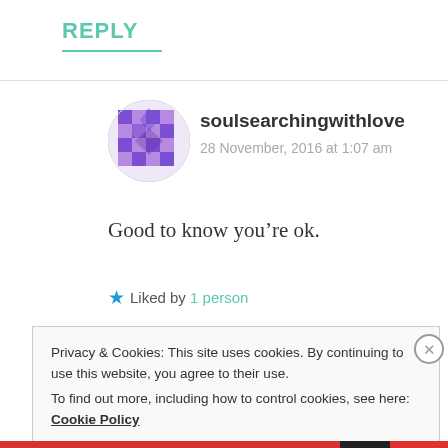REPLY
soulsearchingwithlove
28 November, 2016 at 1:07 am
[Figure (illustration): Purple geometric avatar icon for user soulsearchingwithlove]
Good to know you're ok.
★ Liked by 1 person
Privacy & Cookies: This site uses cookies. By continuing to use this website, you agree to their use.
To find out more, including how to control cookies, see here: Cookie Policy
Close and accept